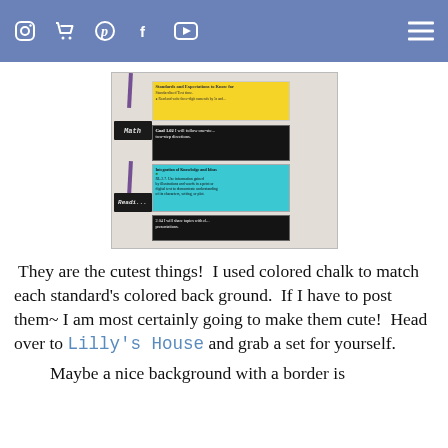Icons: Instagram, cart, Pinterest, Facebook, YouTube, hamburger menu
[Figure (photo): Classroom board with Math and Reading subject tags made of chalkboard labels with ribbons. Standards cards with colored backgrounds: yellow card with text, black card with 'Goal 1.02 I will follow one-step two-step directions', cyan/teal card with integration of knowledge standard RL.2.7, and black card with '2.04 I will share topics with presentations'.]
They are the cutest things!  I used colored chalk to match each standard's colored back ground.  If I have to post them~ I am most certainly going to make them cute!  Head over to Lilly's House and grab a set for yourself.
Maybe a nice background with a border is